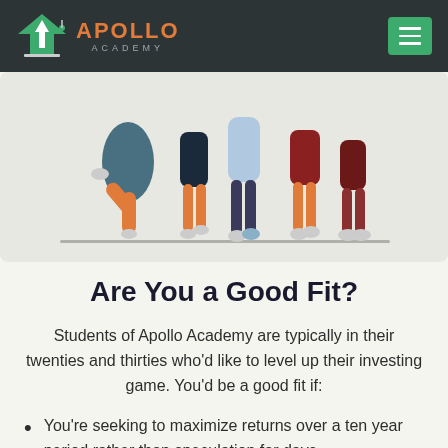Apollo Academy
[Figure (illustration): Illustration of several people walking, shown from the waist down, with colorful clothing on a light gray background.]
Are You a Good Fit?
Students of Apollo Academy are typically in their twenties and thirties who'd like to level up their investing game. You'd be a good fit if:
You're seeking to maximize returns over a ten year period rather than speculation for days